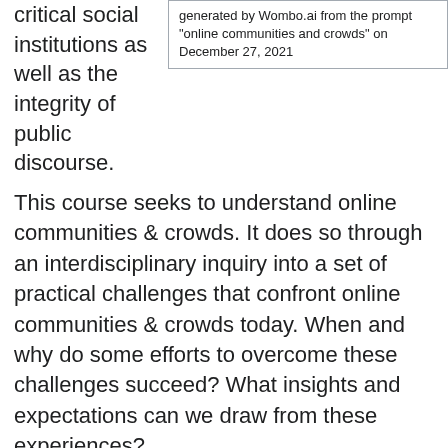critical social institutions as well as the integrity of public discourse.
generated by Wombo.ai from the prompt "online communities and crowds" on December 27, 2021
This course seeks to understand online communities & crowds. It does so through an interdisciplinary inquiry into a set of practical challenges that confront online communities & crowds today. When and why do some efforts to overcome these challenges succeed? What insights and expectations can we draw from these experiences?
Learning objectives [edit]
The course is designed to enable students to achieve the following goals:
1. to learn to critically assess contemporary...